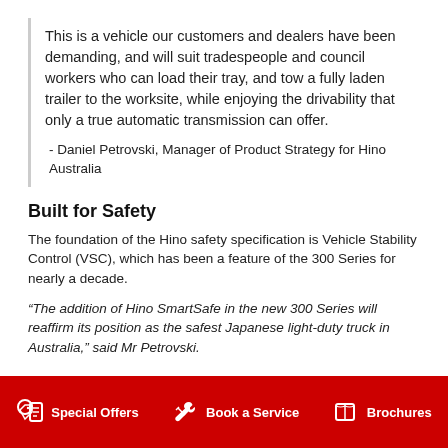This is a vehicle our customers and dealers have been demanding, and will suit tradespeople and council workers who can load their tray, and tow a fully laden trailer to the worksite, while enjoying the drivability that only a true automatic transmission can offer.
- Daniel Petrovski, Manager of Product Strategy for Hino Australia
Built for Safety
The foundation of the Hino safety specification is Vehicle Stability Control (VSC), which has been a feature of the 300 Series for nearly a decade.
“The addition of Hino SmartSafe in the new 300 Series will reaffirm its position as the safest Japanese light-duty truck in Australia,” said Mr Petrovski.
Special Offers   Book a Service   Brochures